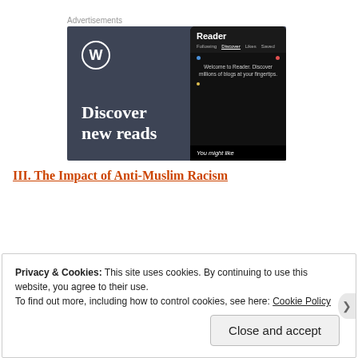Advertisements
[Figure (screenshot): WordPress advertisement banner showing 'Discover new reads' with WordPress logo and a phone mockup showing the Reader interface with 'Welcome to Reader. Discover millions of blogs at your fingertips.' and 'You might like' text.]
III. The Impact of Anti-Muslim Racism
Privacy & Cookies: This site uses cookies. By continuing to use this website, you agree to their use.
To find out more, including how to control cookies, see here: Cookie Policy